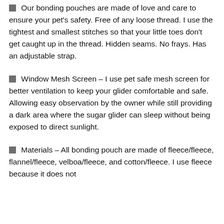Our bonding pouches are made of love and care to ensure your pet's safety. Free of any loose thread. I use the tightest and smallest stitches so that your little toes don't get caught up in the thread. Hidden seams. No frays. Has an adjustable strap.
Window Mesh Screen - I use pet safe mesh screen for better ventilation to keep your glider comfortable and safe. Allowing easy observation by the owner while still providing a dark area where the sugar glider can sleep without being exposed to direct sunlight.
Materials - All bonding pouch are made of fleece/fleece, flannel/fleece, velboa/fleece, and cotton/fleece. I use fleece because it does not